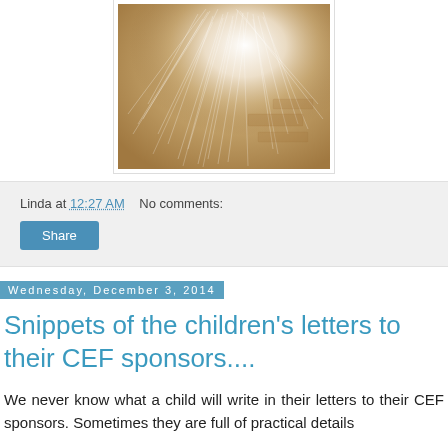[Figure (photo): Close-up photo of fine white/silver hair or fiber strands spread across a wooden surface, with warm brown tones in background]
Linda at 12:27 AM    No comments:
Share
Wednesday, December 3, 2014
Snippets of the children's letters to their CEF sponsors....
We never know what a child will write in their letters to their CEF sponsors. Sometimes they are full of practical details